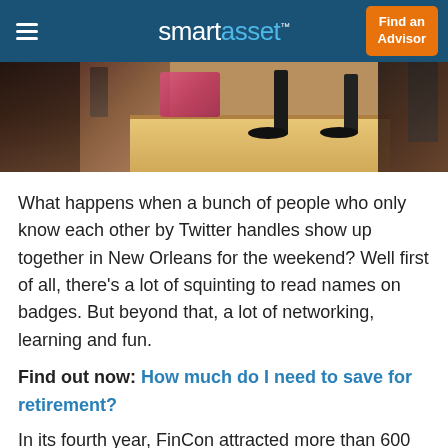smartasset™  Find an Advisor
[Figure (photo): Photo of people sitting at a table with microphones, appearing to be at a conference panel or event.]
What happens when a bunch of people who only know each other by Twitter handles show up together in New Orleans for the weekend? Well first of all, there's a lot of squinting to read names on badges. But beyond that, a lot of networking, learning and fun.
Find out now: How much do I need to save for retirement?
In its fourth year, FinCon attracted more than 600 people to the Big Easy for a few days in September. FinCon started off in 2011 as the Financial Blogger Conference but has since